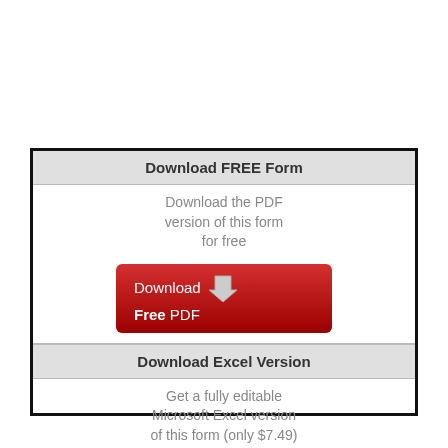Download FREE Form
Download the PDF version of this form for free
[Figure (other): Red download button with arrow icon labeled 'Download Free PDF']
Download Excel Version
Get a fully editable Microsoft Excel version of this form (only $7.49)
[Figure (other): Green download button with arrow icon labeled 'Download EXCEL SPREADSHEET']